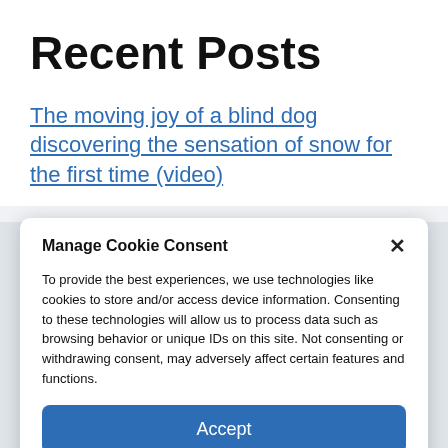Recent Posts
The moving joy of a blind dog discovering the sensation of snow for the first time (video)
Manage Cookie Consent
To provide the best experiences, we use technologies like cookies to store and/or access device information. Consenting to these technologies will allow us to process data such as browsing behavior or unique IDs on this site. Not consenting or withdrawing consent, may adversely affect certain features and functions.
Accept
Cookie Policy